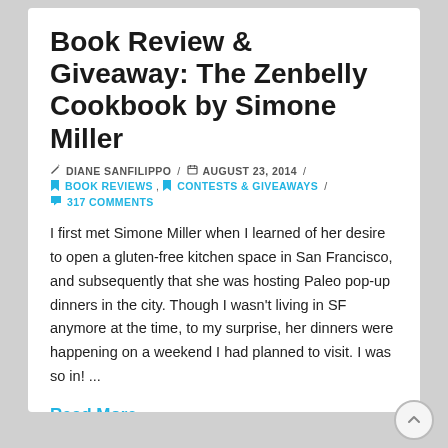Book Review & Giveaway: The Zenbelly Cookbook by Simone Miller
✏ DIANE SANFILIPPO  /  🗓 AUGUST 23, 2014  /  🔖 BOOK REVIEWS,  🔖 CONTESTS & GIVEAWAYS  /  💬 317 COMMENTS
I first met Simone Miller when I learned of her desire to open a gluten-free kitchen space in San Francisco, and subsequently that she was hosting Paleo pop-up dinners in the city. Though I wasn't living in SF anymore at the time, to my surprise, her dinners were happening on a weekend I had planned to visit. I was so in! ...
Read More